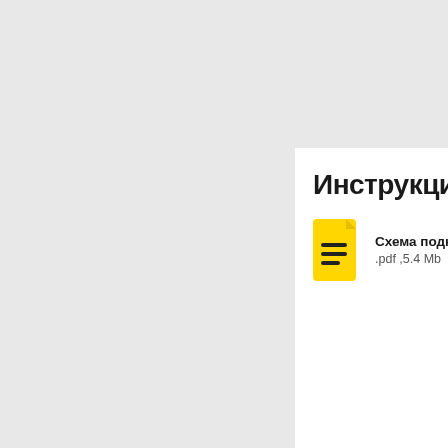Инструкци
[Figure (illustration): Yellow PDF document icon with horizontal lines representing text]
Схема подкл
.pdf ,5.4 Mb
Отзыв о Запасн
Оценка*
Имя*